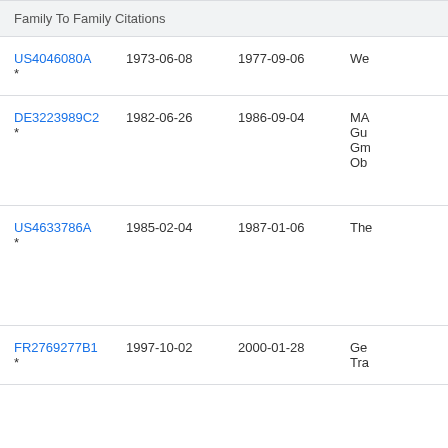| Family To Family Citations |  |  |  |
| --- | --- | --- | --- |
| US4046080A * | 1973-06-08 | 1977-09-06 | We |
| DE3223989C2 * | 1982-06-26 | 1986-09-04 | MA Gu Gm Ob |
| US4633786A * | 1985-02-04 | 1987-01-06 | The |
| FR2769277B1 * | 1997-10-02 | 2000-01-28 | Ge Tra |